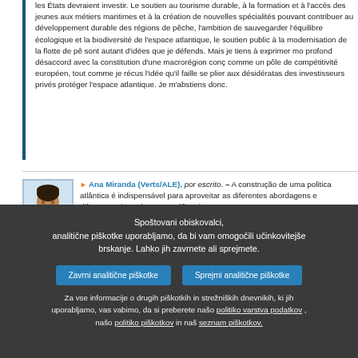les États devraient investir. Le soutien au tourisme durable, à la formation et à l'accès des jeunes aux métiers maritimes et à la création de nouvelles spécialités pouvant contribuer au développement durable des régions de pêche, l'ambition de sauvegarder l'équilibre écologique et la biodiversité de l'espace atlantique, le soutien public à la modernisation de la flotte de pê sont autant d'idées que je défends. Mais je tiens à exprimer mo profond désaccord avec la constitution d'une macrorégion conç comme un pôle de compétitivité européen, tout comme je récus l'idée qu'il faille se plier aux désidératas des investisseurs privés protéger l'espace atlantique. Je m'abstiens donc.
Ana Miranda (Verts/ALE), por escrito. – A construção de uma politica atlântica é indispensável para aproveitar as diferentes abordagens e diferenças desta área geográfica de Europa para
Spoštovani obiskovalci, analitične piškotke uporabljamo, da bi vam omogočili učinkovitejše brskanje. Lahko jih zavrnete ali sprejmete.
Zavrni analitične piškotke | Sprejmi analitične piškotke
Za vse informacije o drugih piškotkih in strežniških dnevnikih, ki jih uporabljamo, vas vabimo, da si preberete našo politiko varstva podatkov , našo politiko piškotkov in naš seznam piškotkov.